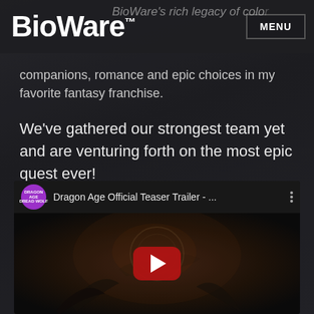BioWare™
BioWare's rich legacy of colorful companions, romance and epic choices in my favorite fantasy franchise.
We've gathered our strongest team yet and are venturing forth on the most epic quest ever!
Matthew Goldman, Creative Director
[Figure (screenshot): YouTube embedded video player showing 'Dragon Age Official Teaser Trailer - ...' with a purple Dragon Age channel icon, video title, three-dot menu, and a dark fantasy thumbnail with a YouTube play button overlay.]